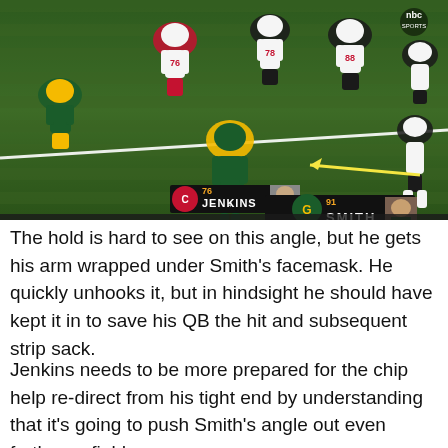[Figure (photo): NFL broadcast screenshot showing Green Bay Packers vs Chicago Bears players lined up at the line of scrimmage. Player name tags are visible: Jenkins #76 (Bears, in white) and Smith #91 (Packers, in green/yellow). A yellow arrow points to Smith. NBC Sports logo visible in top right corner. Players are in pre-snap formation on a green field.]
The hold is hard to see on this angle, but he gets his arm wrapped under Smith's facemask. He quickly unhooks it, but in hindsight he should have kept it in to save his QB the hit and subsequent strip sack.
Jenkins needs to be more prepared for the chip help re-direct from his tight end by understanding that it's going to push Smith's angle out even further upfield.